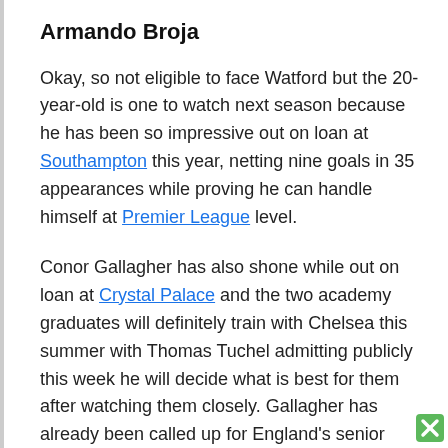Armando Broja
Okay, so not eligible to face Watford but the 20-year-old is one to watch next season because he has been so impressive out on loan at Southampton this year, netting nine goals in 35 appearances while proving he can handle himself at Premier League level.
Conor Gallagher has also shone while out on loan at Crystal Palace and the two academy graduates will definitely train with Chelsea this summer with Thomas Tuchel admitting publicly this week he will decide what is best for them after watching them closely. Gallagher has already been called up for England's senior squad and the future looks bright for him